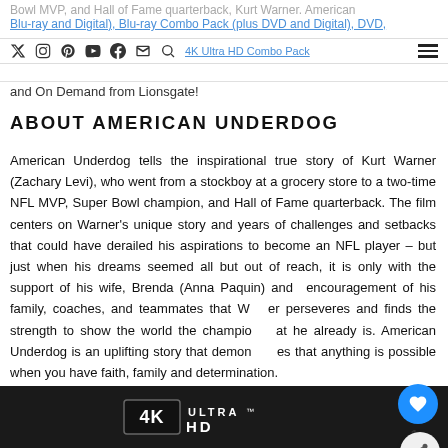Bowl MVP, and Hall of Fame quarterback Kurt Warner. American Underdog is available on 4K Ultra HD Combo Pack (Blu-ray and Digital), Blu-ray Combo Pack (plus DVD and Digital), DVD, and On Demand from Lionsgate!
ABOUT AMERICAN UNDERDOG
American Underdog tells the inspirational true story of Kurt Warner (Zachary Levi), who went from a stockboy at a grocery store to a two-time NFL MVP, Super Bowl champion, and Hall of Fame quarterback. The film centers on Warner's unique story and years of challenges and setbacks that could have derailed his aspirations to become an NFL player – but just when his dreams seemed all but out of reach, it is only with the support of his wife, Brenda (Anna Paquin) and the encouragement of his family, coaches, and teammates that Warner perseveres and finds the strength to show the world the champion that he already is. American Underdog is an uplifting story that demonstrates that anything is possible when you have faith, family and determination.
[Figure (logo): 4K Ultra HD logo on dark background at bottom of page]